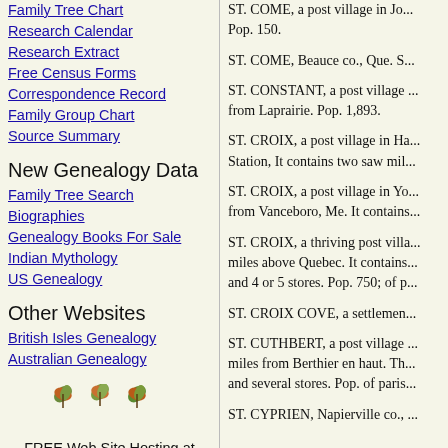Family Tree Chart
Research Calendar
Research Extract
Free Census Forms
Correspondence Record
Family Group Chart
Source Summary
New Genealogy Data
Family Tree Search
Biographies
Genealogy Books For Sale
Indian Mythology
US Genealogy
Other Websites
British Isles Genealogy
Australian Genealogy
FREE Web Site Hosting at Canadian Genealogy
ST. COME, a post village in Jo... Pop. 150.
ST. COME, Beauce co., Que. S...
ST. CONSTANT, a post village ... from Laprairie. Pop. 1,893.
ST. CROIX, a post village in Ha... Station, It contains two saw mil...
ST. CROIX, a post village in Yo... from Vanceboro, Me. It contains...
ST. CROIX, a thriving post villa... miles above Quebec. It contains... and 4 or 5 stores. Pop. 750; of p...
ST. CROIX COVE, a settlemen...
ST. CUTHBERT, a post village ... miles from Berthier en haut. Th... and several stores. Pop. of paris...
ST. CYPRIEN, Napierville co., ...